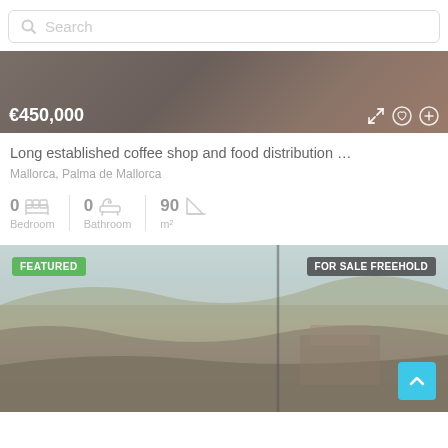Search
[Figure (screenshot): Property listing image showing a dark/blurred interior scene with price overlay €450,000 and action icons (expand, heart, add)]
Long established coffee shop and food distribution …
Mallorca, Palma de Mallorca
0 Bedroom  0 Bathroom  90 m²
[Figure (photo): Property listing photo showing a rural landscape with dry scrubland and a stone structure. Badges: FEATURED (green, top-left), FOR SALE FREEHOLD (dark, top-right). Blue scroll-to-top button bottom-right.]